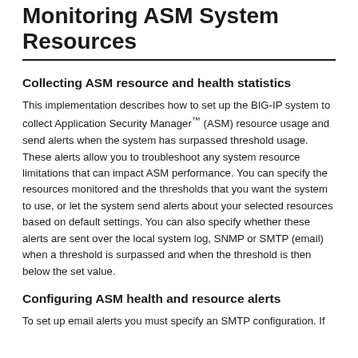Monitoring ASM System Resources
Collecting ASM resource and health statistics
This implementation describes how to set up the BIG-IP system to collect Application Security Manager™ (ASM) resource usage and send alerts when the system has surpassed threshold usage. These alerts allow you to troubleshoot any system resource limitations that can impact ASM performance. You can specify the resources monitored and the thresholds that you want the system to use, or let the system send alerts about your selected resources based on default settings. You can also specify whether these alerts are sent over the local system log, SNMP or SMTP (email) when a threshold is surpassed and when the threshold is then below the set value.
Configuring ASM health and resource alerts
To set up email alerts you must specify an SMTP configuration. If